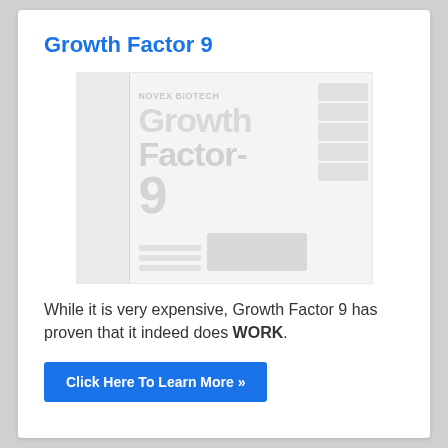Growth Factor 9
[Figure (photo): Blurred/watermarked product image of Growth Factor 9 supplement, showing the product packaging with logo text 'Growth Factor-9' in large grey text, a tall left panel, and rating boxes on the right side.]
While it is very expensive, Growth Factor 9 has proven that it indeed does WORK.
Click Here To Learn More »